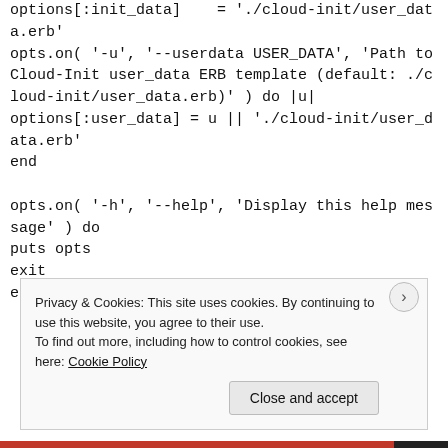options[:init_data]    = './cloud-init/user_data.erb'
opts.on( '-u', '--userdata USER_DATA', 'Path to Cloud-Init user_data ERB template (default: ./cloud-init/user_data.erb)' ) do |u|
options[:user_data] = u || './cloud-init/user_data.erb'
end

opts.on( '-h', '--help', 'Display this help message' ) do
puts opts
exit
end
Privacy & Cookies: This site uses cookies. By continuing to use this website, you agree to their use.
To find out more, including how to control cookies, see here: Cookie Policy